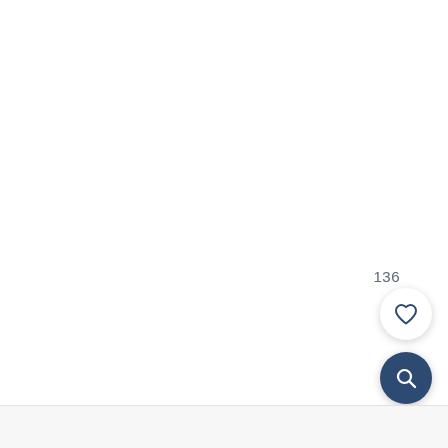136
[Figure (illustration): Heart (favorite) icon button — white circular button with a dark blue outlined heart icon]
[Figure (illustration): Search (magnifier) icon button — dark navy blue circular button with a white magnifying glass icon]